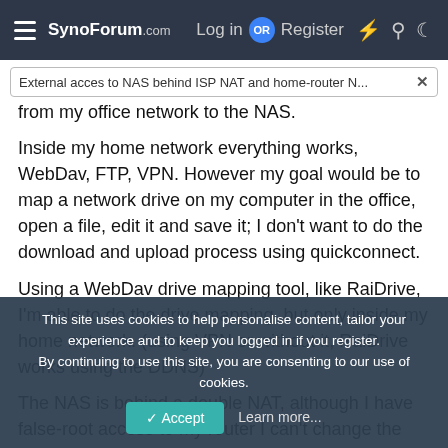SynoForum.com — Log in OR Register
External acces to NAS behind ISP NAT and home-router N... ×
from my office network to the NAS.
Inside my home network everything works, WebDav, FTP, VPN. However my goal would be to map a network drive on my computer in the office, open a file, edit it and save it; I don't want to do the download and upload process using quickconnect.
Using a WebDav drive mapping tool, like RaiDrive, I'm able to do the drive mapping, but only inside my home network. (using VPN or without it, RaiDrive works using the DDNS)
The NAS is behind a double NAT, although I have false-root access to my router I can't change the "Port Restricted Cone
on the house-router side, so the port-forwarding configuration needs to be updated in the ISP-router too. I asked with the ISP, telling me that at this point (forever) they can't give me a public IP address or update the port forward configuration
This site uses cookies to help personalise content, tailor your experience and to keep you logged in if you register.
By continuing to use this site, you are consenting to our use of cookies.